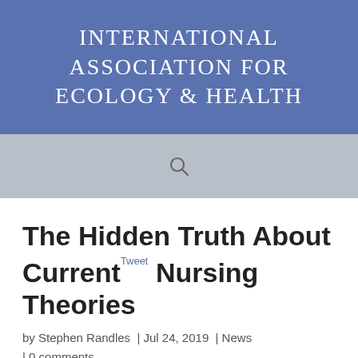INTERNATIONAL ASSOCIATION FOR ECOLOGY & HEALTH
[Figure (other): Search bar with search icon on grey background]
The Hidden Truth About Current Nursing Theories
by Stephen Randles  |  Jul 24, 2019  |  News  | 0 comments